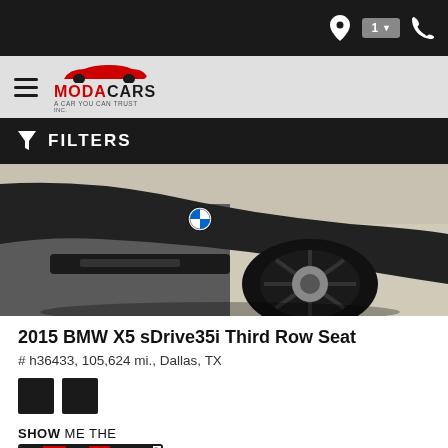Navigation bar with location pin, badge (1), and phone icons
[Figure (logo): Moda Cars logo - A Car You Can Trust]
FILTERS
[Figure (photo): Close-up photo of the front/wheel area of a black BMW X5 on a concrete surface]
2015 BMW X5 sDrive35i Third Row Seat
# h36433, 105,624 mi., Dallas, TX
[Figure (other): Two black color swatches]
[Figure (logo): Show Me The Carfax logo with alternating red and black letter tiles]